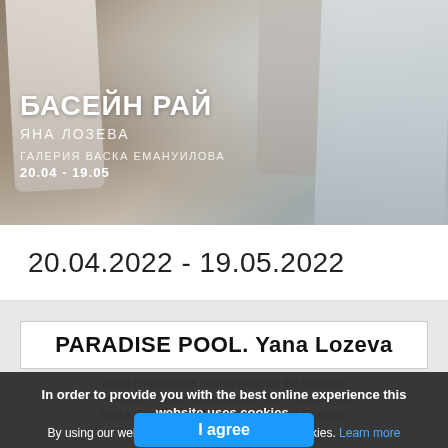[Figure (photo): Exhibition banner photo showing hanging white and gray fabric/clothing items with text overlay in Bulgarian: БАСЕЙН РАЙ (PARADISE POOL), ЯНА ЛОЗЕВА (YANA LOZEVA), ГАЛЕРИЯ ВАСКА ЕМАНУИЛОВА, 20.04 - 19.05]
20.04.2022 - 19.05.2022
PARADISE POOL. Yana Lozeva
In order to provide you with the best online experience this website uses cookies.
By using our website, you agree to our use of cookies. Learn more
I agree